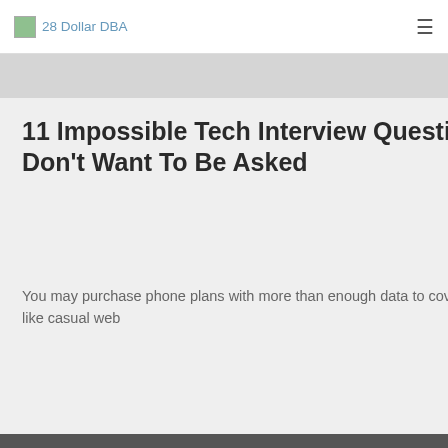28 Dollar DBA
11 Impossible Tech Interview Questions You Don't Want To Be Asked
You may purchase phone plans with more than enough data to cover things like casual web
READ MORE